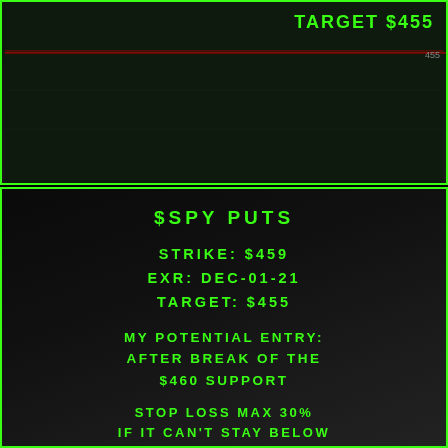[Figure (other): Stock chart screenshot showing SPY price chart with a red horizontal target line at $455 and a dashed vertical line, dark background with green border]
TARGET $455
$SPY PUTS
STRIKE: $459
EXR: DEC-01-21
TARGET: $455
MY POTENTIAL ENTRY:
AFTER BREAK OF THE $460 SUPPORT
STOP LOSS MAX 30%
IF IT CAN'T STAY BELOW THE SUPPORT